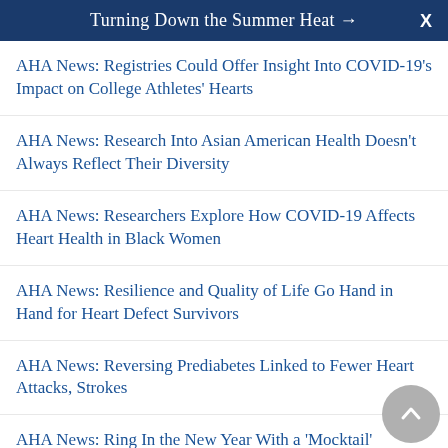Turning Down the Summer Heat →  X
AHA News: Registries Could Offer Insight Into COVID-19's Impact on College Athletes' Hearts
AHA News: Research Into Asian American Health Doesn't Always Reflect Their Diversity
AHA News: Researchers Explore How COVID-19 Affects Heart Health in Black Women
AHA News: Resilience and Quality of Life Go Hand in Hand for Heart Defect Survivors
AHA News: Reversing Prediabetes Linked to Fewer Heart Attacks, Strokes
AHA News: Ring In the New Year With a 'Mocktail'
AHA News: Routine Checkup Led to Open-Heart Surgery &ndash; at Age 6
AHA News: Sadness and Isolation of Pandemic Can Make Coping With Grief Harder